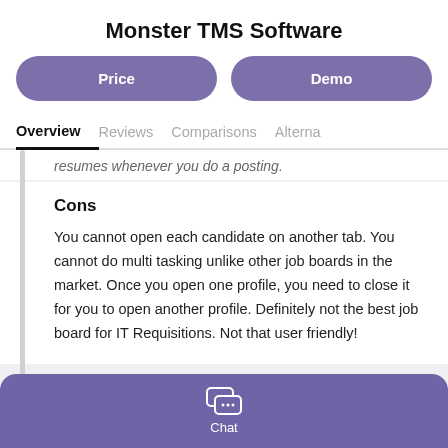Monster TMS Software
[Figure (other): Two pill-shaped purple buttons labeled 'Price' and 'Demo']
Overview  Reviews  Comparisons  Alterna…
resumes whenever you do a posting.
Cons
You cannot open each candidate on another tab. You cannot do multi tasking unlike other job boards in the market. Once you open one profile, you need to close it for you to open another profile. Definitely not the best job board for IT Requisitions. Not that user friendly!
[Figure (other): Purple chat bar at the bottom with a chat bubble icon and 'Chat' label]